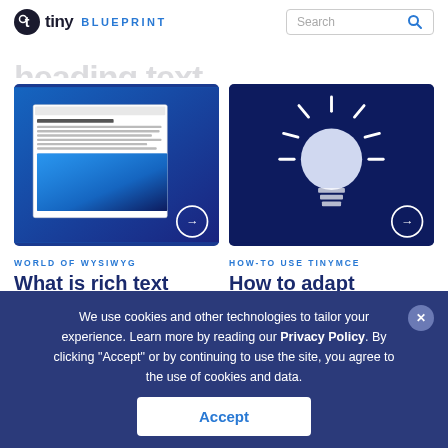tiny BLUEPRINT | Search
heading (partial, cut off)
[Figure (screenshot): Screenshot of a rich text editor with document content and Yosemite mountain image]
[Figure (illustration): Light bulb icon on dark blue background]
WORLD OF WYSIWYG
What is rich text editor?
HOW-TO USE TINYMCE
How to adapt TinyMCE editor to
We use cookies and other technologies to tailor your experience. Learn more by reading our Privacy Policy. By clicking "Accept" or by continuing to use the site, you agree to the use of cookies and data.
Accept